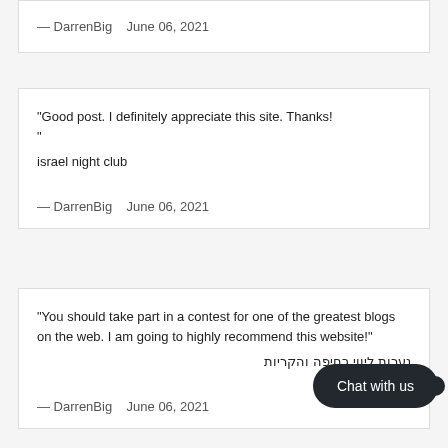— DarrenBig   June 06, 2021
"Good post. I definitely appreciate this site. Thanks!
"

israel night club
— DarrenBig   June 06, 2021
"You should take part in a contest for one of the greatest blogs on the web. I am going to highly recommend this website!"
נערות ליווי בחיפה והקריות
— DarrenBig   June 06, 2021